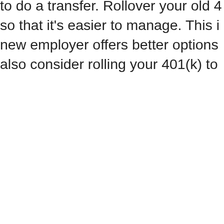to do a transfer. Rollover your old 4 so that it's easier to manage. This i new employer offers better options also consider rolling your 401(k) to
3. Increase Your Contribution
Are you maxing out your retirement through your finances and figure ou add more to your 401(k). Dependin you might be better off concentratin there are solid options in the 401(k your contribution. At the very least i that you get the full match.
4. What about a Roth IRA?
Not too long ago, Congress introdu 401(k). It has the same tax benefits